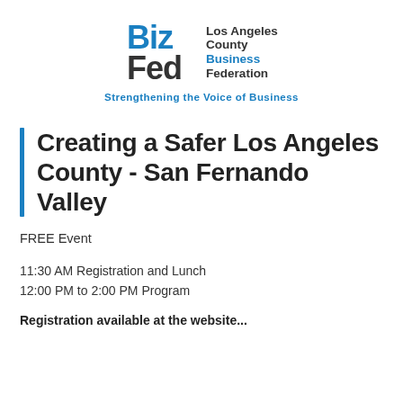[Figure (logo): BizFed Los Angeles County Business Federation logo with blue and black text and Biz Fed stylized mark]
Strengthening the Voice of Business
Creating a Safer Los Angeles County - San Fernando Valley
FREE Event
11:30 AM Registration and Lunch
12:00 PM to 2:00 PM Program
Registration available at the website...